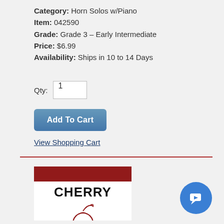Category: Horn Solos w/Piano
Item: 042590
Grade: Grade 3 - Early Intermediate
Price: $6.99
Availability: Ships in 10 to 14 Days
Qty: 1
Add To Cart
View Shopping Cart
[Figure (illustration): Cherry Classics Music book cover with dark red header bar, CHERRY text in large bold letters, and a red cherry outline illustration below]
[Figure (other): Blue circular chat/support button icon in bottom right corner]